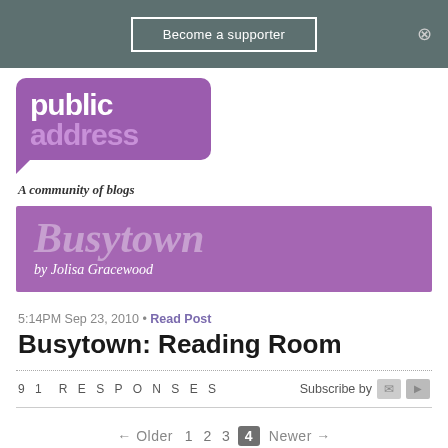Become a supporter
[Figure (logo): Public Address logo - purple speech bubble with 'public address' text and tagline 'A community of blogs']
[Figure (logo): Busytown blog banner in purple with italic title 'Busytown' and subtitle 'by Jolisa Gracewood']
5:14PM Sep 23, 2010 • Read Post
Busytown: Reading Room
91 RESPONSES   Subscribe by [email] [rss]
← Older  1  2  3  4  Newer →